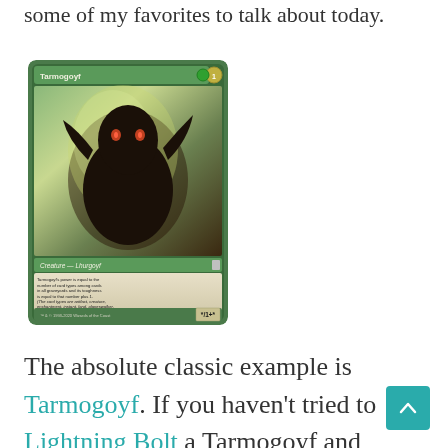some of my favorites to talk about today.
[Figure (photo): A Magic: The Gathering card named Tarmogoyf. Green-bordered card showing a large creature with claws. Card text: Tarmogoyf's power is equal to the number of card types among cards in all graveyards and its toughness is equal to that number plus 1. (The card types are artifact, creature, enchantment, instant, land, planeswalker, sorcery, and tribal.) Power/Toughness: */1+*]
The absolute classic example is Tarmogoyf. If you haven't tried to Lightning Bolt a Tarmogoyf and failed to kill it then you haven't lived. Tarmogoyf gets +1/+1 for each spell type in the graveyard. Let's